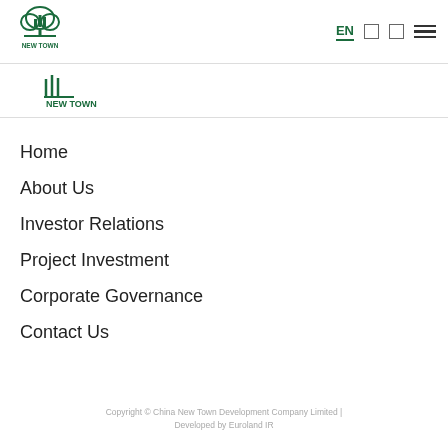[Figure (logo): New Town company logo with tree and bar chart graphic, top header]
[Figure (logo): New Town company logo, secondary navigation bar]
Home
About Us
Investor Relations
Project Investment
Corporate Governance
Contact Us
Copyright © China New Town Development Company Limited | Developed by Euroland IR